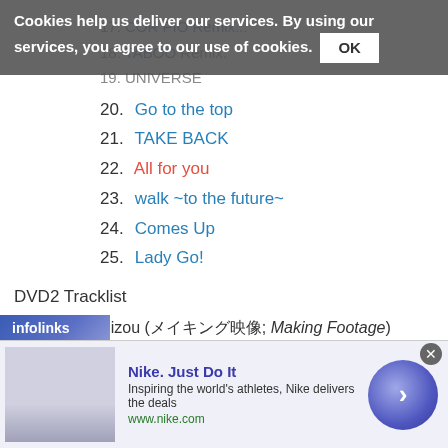17. [CORRIO Remix...]
18. TABOO Remix.
19. UNIVERSE
20. Go to the top
21. TAKE BACK
22. All for you
23. walk ~to the future~
24. Comes Up
25. Lady Go!
DVD2 Tracklist
1. Making Eizou (メイキング映像; Making Footage)
2. Tokuten Eizou (特典映像; Bonus Footage)
1. ENCORE: Koishikute (恋しくて; Darling)
2. Surprise Eizou (サプライズ映像; Surprise Footage)
[Figure (screenshot): Infolinks advertisement banner with Nike ad showing shoes image, Nike Just Do It text, and a blue circle arrow button]